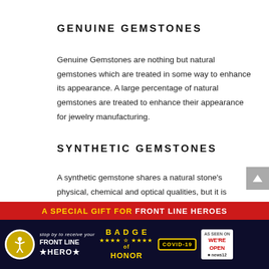GENUINE GEMSTONES
Genuine Gemstones are nothing but natural gemstones which are treated in some way to enhance its appearance. A large percentage of natural gemstones are treated to enhance their appearance for jewelry manufacturing.
SYNTHETIC GEMSTONES
A synthetic gemstone shares a natural stone's physical, chemical and optical qualities, but it is created in a laboratory. More recently, synthetic versions of nearly all popular gemstones are available. Some modern gemologist can usually detect them. Jewelry that
[Figure (infographic): Advertisement banner: 'A SPECIAL GIFT FOR FRONT LINE HEROES' with Badge of Honor, COVID-19, accessibility icon, and news logos]